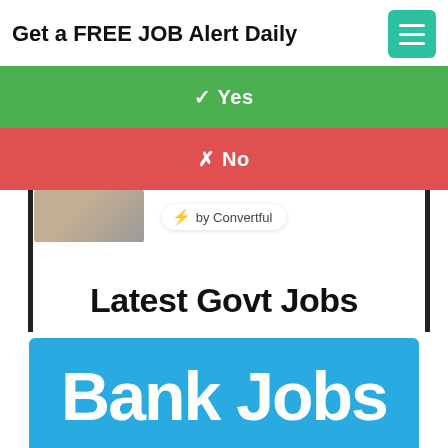Get a FREE JOB Alert Daily
✓ Yes
✗ No
[Figure (screenshot): Banner image with cat photo at top left, 'by Convertful' badge in center, vertical black bars on left and right, and 'Latest Govt Jobs' text in large bold black font]
[Figure (screenshot): Blue banner image with large white bold text reading 'Bank Jobs']
[Figure (photo): Partial bottom strip showing two images: a golden house/building illustration on the left and a gray building on the right]